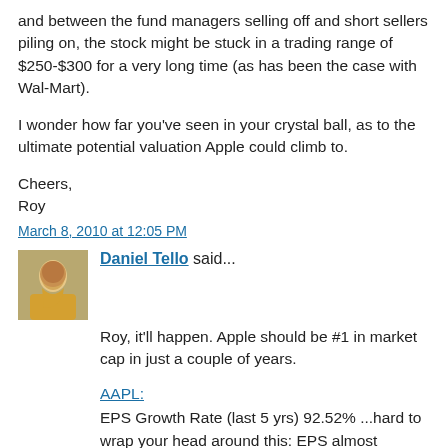and between the fund managers selling off and short sellers piling on, the stock might be stuck in a trading range of $250-$300 for a very long time (as has been the case with Wal-Mart).
I wonder how far you've seen in your crystal ball, as to the ultimate potential valuation Apple could climb to.
Cheers,
Roy
March 8, 2010 at 12:05 PM
Daniel Tello said...
Roy, it'll happen. Apple should be #1 in market cap in just a couple of years.
AAPL:
EPS Growth Rate (last 5 yrs) 92.52% ...hard to wrap your head around this: EPS almost doubled (on average) every single year for the last 5 years, and it's not a typo!
LT EPS Growth Rate (next 5 yrs) 18.89%
Net Profit Margin (TTM) 20.04%
P/E Ratio (TTM) 21.37